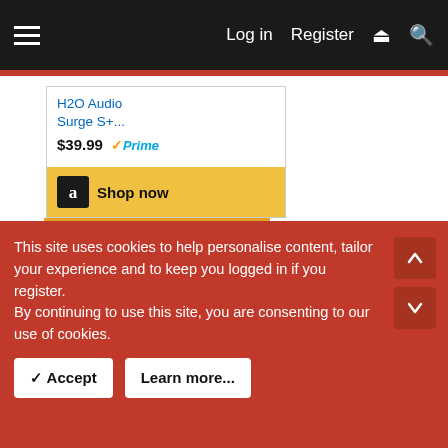≡  Log in  Register
[Figure (screenshot): Amazon product listing card for H2O Audio Surge S+... priced at $39.99 with Amazon Prime badge and a yellow 'Shop now' button with Amazon logo]
My Cardo Freecom Plus has a standard 3.5mm jack and I just connect these once the helmet is already on, tuck the cable behind the helmet inside the liner.
otherwise I use these, when using the Speakers inside the helmet. Even if the speakers are pretty big and loud (JBL) and very close to my ears, the sound is in somehow compromised.
This site uses cookies to help personalise content, tailor your experience and to keep you logged in if you register. By continuing to use this site, you are consenting to our use of cookies.  [Accept] [Learn more...]